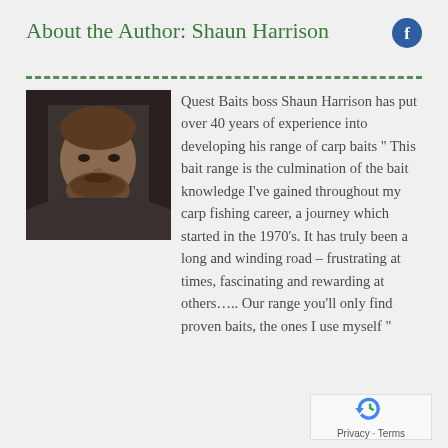About the Author: Shaun Harrison
[Figure (photo): Portrait photo of Shaun Harrison, a middle-aged man with brown hair and beard]
Quest Baits boss Shaun Harrison has put over 40 years of experience into developing his range of carp baits " This bait range is the culmination of the bait knowledge I’ve gained throughout my carp fishing career, a journey which started in the 1970’s. It has truly been a long and winding road – frustrating at times, fascinating and rewarding at others….. Our range you’ll only find proven baits, the ones I use myself “